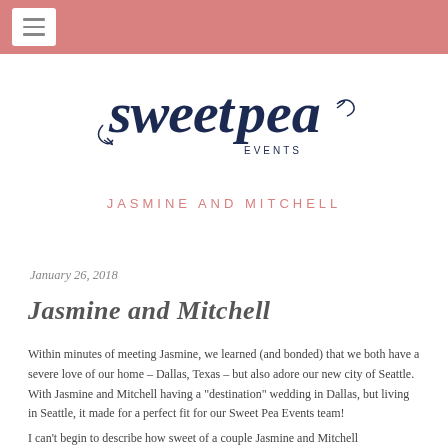[Figure (logo): Sweet Pea Events cursive script logo in dark navy blue]
JASMINE AND MITCHELL
January 26, 2018
Jasmine and Mitchell
Within minutes of meeting Jasmine, we learned (and bonded) that we both have a severe love of our home – Dallas, Texas – but also adore our new city of Seattle. With Jasmine and Mitchell having a "destination" wedding in Dallas, but living in Seattle, it made for a perfect fit for our Sweet Pea Events team!
I can't begin to describe how sweet of a couple Jasmine and Mitchell